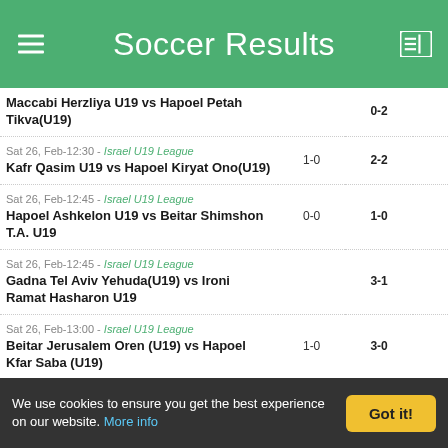Soccer Results
| Match | HT | FT |
| --- | --- | --- |
| Maccabi Herzliya U19 vs Hapoel Petah Tikva(U19) |  | 0-2 |
| Sat 26, Feb-12:30 - Israel U19 League
Kafr Qasim U19 vs Hapoel Kiryat Ono(U19) | 1-0 | 2-2 |
| Sat 26, Feb-12:45 - Israel U19 League
Hapoel Ashkelon U19 vs Beitar Shimshon T.A. U19 | 0-0 | 1-0 |
| Sat 26, Feb-12:45 - Israel U19 League
Gadna Tel Aviv Yehuda(U19) vs Ironi Ramat Hasharon U19 |  | 3-1 |
| Sat 26, Feb-13:00 - Israel U19 League
Beitar Jerusalem Oren (U19) vs Hapoel Kfar Saba (U19) | 1-0 | 3-0 |
| Sat 26, Feb-21:00 - Israel Women 1st National
Bnot Netanya Women's vs Hapoel Raanana Women's | 0-0 | 0-1 |
| Sat 26, Feb-16:00 - Italian Campionato Primavera
Juventus Youth vs Inter Milan Youth | 0-1 | 0-3 |
| Sat 26, Feb-18:00 - Italian Campionato Primavera
Empoli Youth vs Torino Youth | 0-0 | 1-1 |
We use cookies to ensure you get the best experience on our website. More info